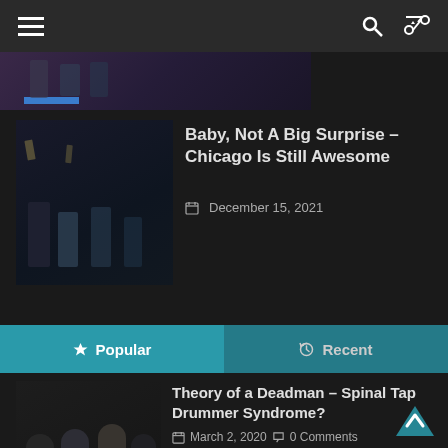Navigation header with hamburger menu, search icon, shuffle icon
[Figure (photo): Partial image strip at top showing musicians with blue bar element]
Baby, Not A Big Surprise – Chicago Is Still Awesome
December 15, 2021
Popular | Recent
[Figure (photo): Band photo of Theory of a Deadman – four men standing together]
Theory of a Deadman – Spinal Tap Drummer Syndrome?
March 2, 2020  0 Comments
[Figure (photo): Scene from Fitzcarraldo film by Werner Herzog showing crowd and white-dressed figures]
Not Coming To A Theater Near You: Werner Herzog's Fitzcarraldo
July 1, 2003  0 Comments